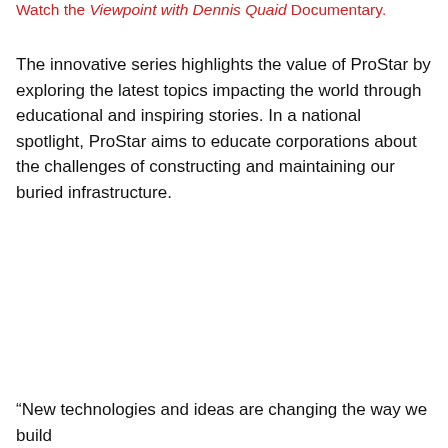Watch the Viewpoint with Dennis Quaid Documentary.
The innovative series highlights the value of ProStar by exploring the latest topics impacting the world through educational and inspiring stories. In a national spotlight, ProStar aims to educate corporations about the challenges of constructing and maintaining our buried infrastructure.
“New technologies and ideas are changing the way we build